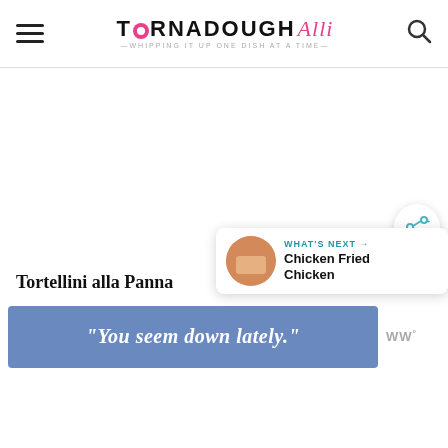TORNADOUGH Alli — Whipping it up one dish at a time
[Figure (other): Large blank advertisement area]
Tortellini alla Panna
Pizza Grill...
[Figure (other): What's Next: Chicken Fried Chicken with thumbnail image]
[Figure (other): Share button icon]
[Figure (other): Advertisement banner: "You seem down lately."]